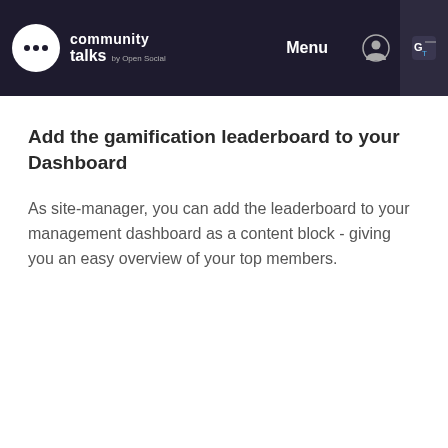community talks by Open Social  Menu
Add the gamification leaderboard to your Dashboard
As site-manager, you can add the leaderboard to your management dashboard as a content block - giving you an easy overview of your top members.